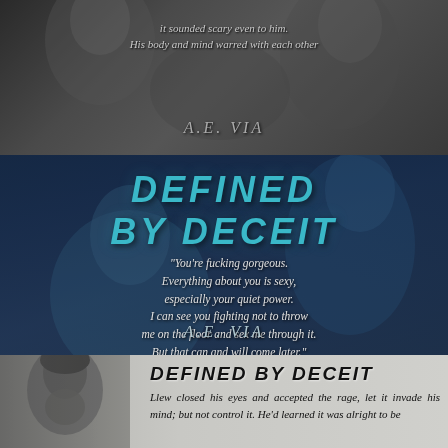[Figure (illustration): Top panel: dark dramatic photo of two men, with italic text overlay and author name A.E. VIA]
it sounded scary even to him.
His body and mind warred with each other
A.E. VIA
[Figure (illustration): Middle panel: dark blue-toned book cover graphic for 'Defined by Deceit' by A.E. Via with quote and shadowy male figures]
DEFINED BY DECEIT
“You’re fucking gorgeous. Everything about you is sexy, especially your quiet power. I can see you fighting not to throw me on the floor and sex me through it. But that can and will come later.”
A.E. VIA
[Figure (illustration): Bottom panel: black and white photo of man's face on left, with bold italic title 'DEFINED BY DECEIT' and excerpt text on right]
DEFINED BY DECEIT
Llew closed his eyes and accepted the rage, let it invade his mind; but not control it. He’d learned it was alright to be